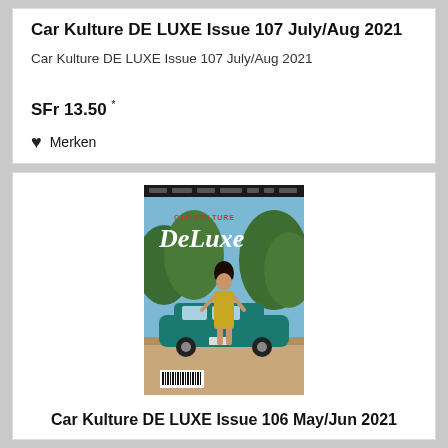Car Kulture DE LUXE Issue 107 July/Aug 2021
Car Kulture DE LUXE Issue 107 July/Aug 2021
SFr 13.50 *
♥ Merken
[Figure (photo): Magazine cover of Car Kulture DE LUXE showing a woman in a gold dress posing in front of a teal classic car, with trees in the background. The magazine title 'DeLuxe' is prominently displayed at the top.]
Car Kulture DE LUXE Issue 106 May/Jun 2021